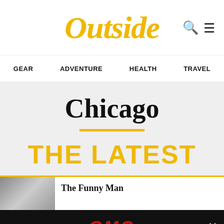Outside
GEAR
ADVENTURE
HEALTH
TRAVEL
Chicago
THE LATEST
The Funny Man
[Figure (logo): GMC advertisement banner with red GMC text on black background with close button]